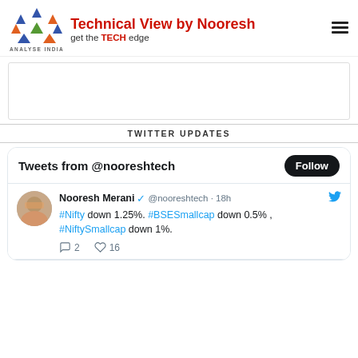Technical View by Nooresh — get the TECH edge — Analyse India
[Figure (logo): Analyse India logo with colorful triangles and ANALYSE INDIA text]
TWITTER UPDATES
Tweets from @nooreshtech
Nooresh Merani @nooreshtech · 18h
#Nifty down 1.25%. #BSESmallcap down 0.5% , #NiftySmallcap down 1%.
2 replies · 16 likes